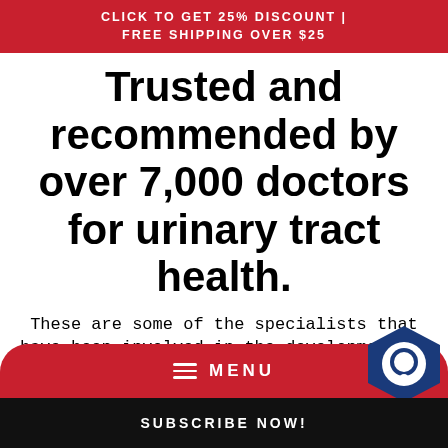CLICK TO GET 25% DISCOUNT | FREE SHIPPING OVER $25
Trusted and recommended by over 7,000 doctors for urinary tract health.
These are some of the specialists that have been involved in the development of Utiva's products and services to ensure we provide the highest quality of care to help you along your journey to have a healthy bladder.
[Figure (other): Watch video button with red border]
MENU
SUBSCRIBE NOW!